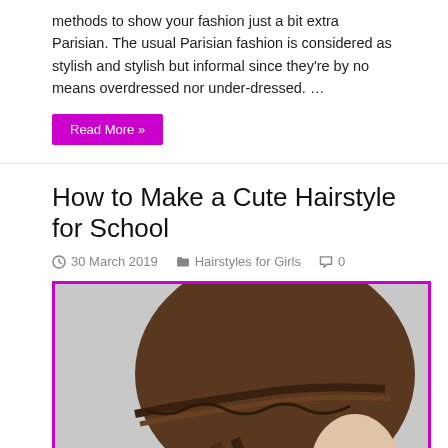methods to show your fashion just a bit extra Parisian. The usual Parisian fashion is considered as stylish and stylish but informal since they're by no means overdressed nor under-dressed. …
Read More »
How to Make a Cute Hairstyle for School
30 March 2019   Hairstyles for Girls   0
[Figure (photo): Back view of a girl with a braided hairstyle forming a braid into a low ponytail, against a light grey background.]